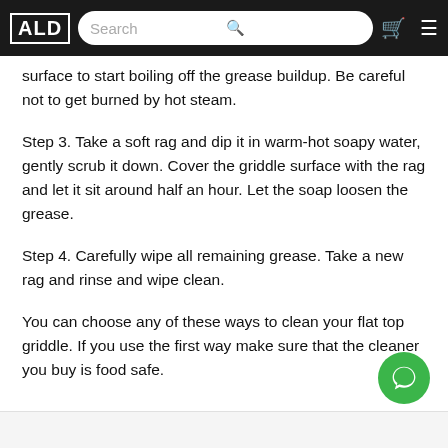ALD [Search] [cart] [menu]
surface to start boiling off the grease buildup. Be careful not to get burned by hot steam.
Step 3. Take a soft rag and dip it in warm-hot soapy water, gently scrub it down. Cover the griddle surface with the rag and let it sit around half an hour. Let the soap loosen the grease.
Step 4. Carefully wipe all remaining grease. Take a new rag and rinse and wipe clean.
You can choose any of these ways to clean your flat top griddle. If you use the first way make sure that the cleaner you buy is food safe.